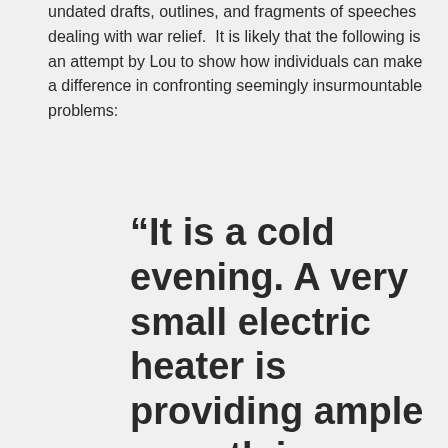undated drafts, outlines, and fragments of speeches dealing with war relief.  It is likely that the following is an attempt by Lou to show how individuals can make a difference in confronting seemingly insurmountable problems:
“It is a cold evening. A very small electric heater is providing ample warmth in a small room.  Its construction is interesting.  The coil of wire at its core is small